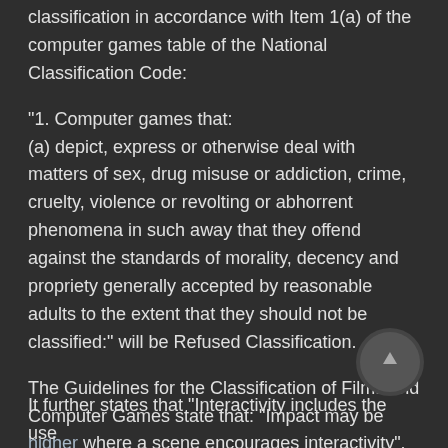classification in accordance with Item 1(a) of the computer games table of the National Classification Code:
"1. Computer games that: (a) depict, express or otherwise deal with matters of sex, drug misuse or addiction, crime, cruelty, violence or revolting or abhorrent phenomena in such away that they offend against the standards of morality, decency and propriety generally accepted by reasonable adults to the extent that they should not be classified:" will be Refused Classification.
The Guidelines for the Classification of Films and Computer Games state that: "Impact may be higher where a scene encourages interactivity".
It further states that "Interactivity includes the use